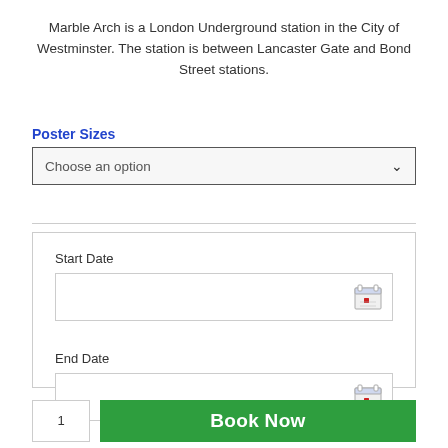Marble Arch is a London Underground station in the City of Westminster. The station is between Lancaster Gate and Bond Street stations.
Poster Sizes
Choose an option
Start Date
End Date
Book Now